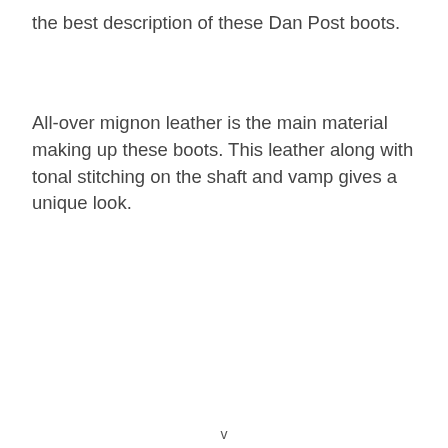the best description of these Dan Post boots.
All-over mignon leather is the main material making up these boots. This leather along with tonal stitching on the shaft and vamp gives a unique look.
v